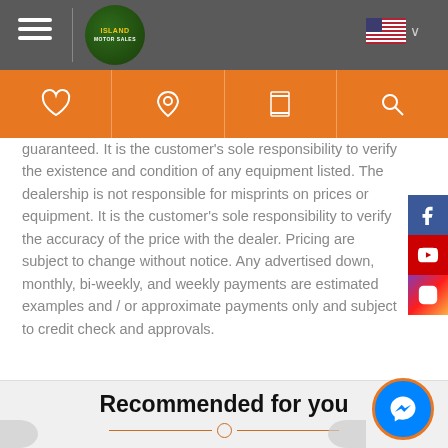[Figure (screenshot): Website navigation bar with hamburger menu, Island Motor Sales logo, and US flag language selector]
[Figure (screenshot): Orange icon bar with heart, location pin, phone, and search icons]
guaranteed. It is the customer's sole responsibility to verify the existence and condition of any equipment listed. The dealership is not responsible for misprints on prices or equipment. It is the customer's sole responsibility to verify the accuracy of the price with the dealer. Pricing are subject to change without notice. Any advertised down, monthly, bi-weekly, and weekly payments are estimated examples and / or approximate payments only and subject to credit check and approvals.
[Figure (screenshot): Social media sidebar with Facebook, YouTube, and Instagram buttons]
Recommended for you
[Figure (screenshot): Messenger chat button (blue circle with chat icon, orange border)]